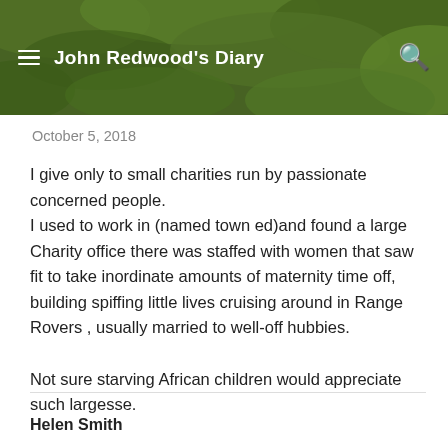John Redwood's Diary
October 5, 2018
I give only to small charities run by passionate concerned people.
I used to work in (named town ed)and found a large Charity office there was staffed with women that saw fit to take inordinate amounts of maternity time off, building spiffing little lives cruising around in Range Rovers , usually married to well-off hubbies.

Not sure starving African children would appreciate such largesse.
Helen Smith